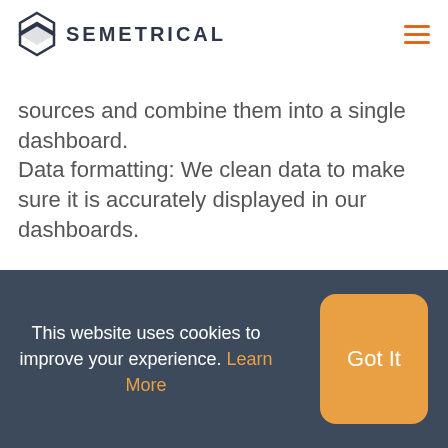SEMETRICAL
sources and combine them into a single dashboard.
Data formatting: We clean data to make sure it is accurately displayed in our dashboards.
This website uses cookies to improve your experience. Learn More  Got It